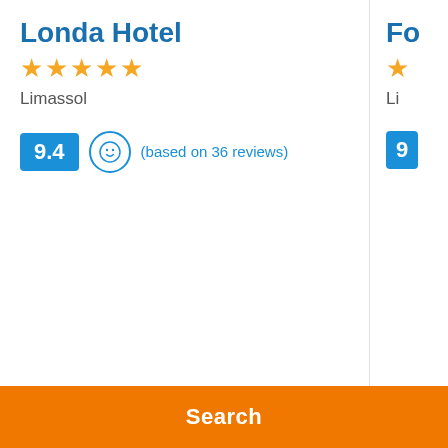Londa Hotel
★★★★★
Limassol
9.4 (based on 36 reviews)
Fo...
Li...
9...
Search